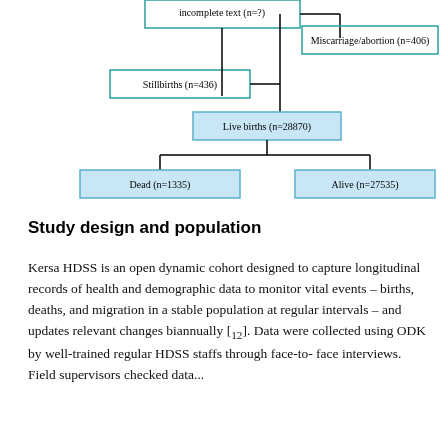[Figure (flowchart): Partial flowchart showing pregnancy outcomes: Miscarriage/abortion (n=406), Stillbirths (n=436), Live births (n=28870) branching to Dead (n=1335) and Alive (n=27535).]
Study design and population
Kersa HDSS is an open dynamic cohort designed to capture longitudinal records of health and demographic data to monitor vital events – births, deaths, and migration in a stable population at regular intervals – and updates relevant changes biannually [12]. Data were collected using ODK by well-trained regular HDSS staffs through face-to-face interviews. Field supervisors checked data...